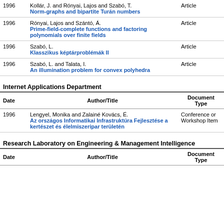| Date | Author/Title | Document Type |
| --- | --- | --- |
| 1996 | Kollár, J. and Rónyai, Lajos and Szabó, T.
Norm-graphs and bipartite Turán numbers | Article |
| 1996 | Rónyai, Lajos and Szántó, Á.
Prime-field-complete functions and factoring polynomials over finite fields | Article |
| 1996 | Szabó, L.
Klasszikus képtárproblémák II | Article |
| 1996 | Szabó, L. and Talata, I.
An illumination problem for convex polyhedra | Article |
Internet Applications Department
| Date | Author/Title | Document Type |
| --- | --- | --- |
| 1996 | Lengyel, Monika and Zalainé Kovács, É.
Az országos Informatikai Infrastruktúra Fejlesztése a kertészet és élelmiszeripar területén | Conference or Workshop Item |
Research Laboratory on Engineering & Management Intelligence
| Date | Author/Title | Document Type |
| --- | --- | --- |